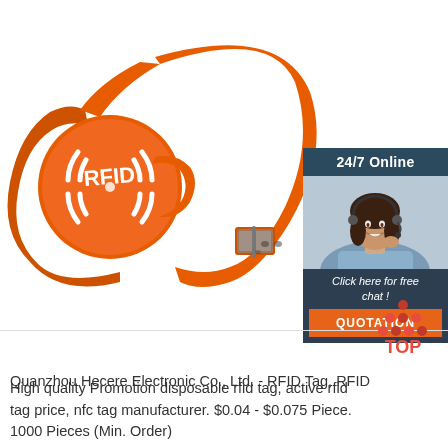[Figure (photo): Orange silicone RFID wristband with circular RFID logo disc and adjustable buckle clasp]
[Figure (infographic): 24/7 Online chat widget showing a woman with headset, with 'Click here for free chat!' text and orange QUOTATION button]
[Figure (logo): TOP logo with orange dots arranged in triangle above text 'TOP']
Quanzhou Hecere Electronic Co., Ltd. - RFID Tag, RFID
High quality Promotion disposable rfid tag, active rfid tag price, nfc tag manufacturer. $0.04 - $0.075 Piece. 1000 Pieces (Min. Order)